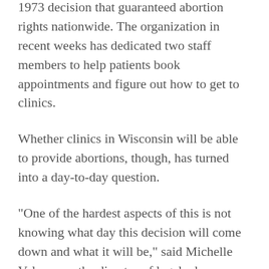1973 decision that guaranteed abortion rights nationwide. The organization in recent weeks has dedicated two staff members to help patients book appointments and figure out how to get to clinics.
Whether clinics in Wisconsin will be able to provide abortions, though, has turned into a day-to-day question.
"One of the hardest aspects of this is not knowing what day this decision will come down and what it will be," said Michelle Velasquez, the director of legal advocacy and services at Planned Parenthood Wisconsin. "The unknown has been difficult."
It's a window into what abortion providers and access funds are planning in more than a dozen other states across the South and Midwest. In South Dakota this week, the state's only abortion clinic, also operated by